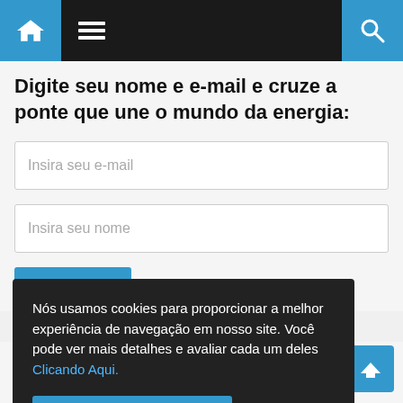Navigation bar with home icon, menu icon, search icon
Digite seu nome e e-mail e cruze a ponte que une o mundo da energia:
Insira seu e-mail
Insira seu nome
Nós usamos cookies para proporcionar a melhor experiência de navegação em nosso site. Você pode ver mais detalhes e avaliar cada um deles Clicando Aqui.
Aceitar todos os cookies